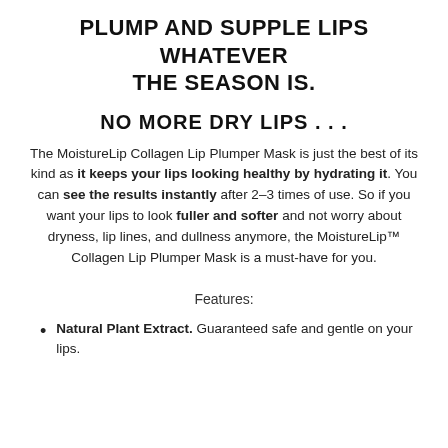PLUMP AND SUPPLE LIPS WHATEVER THE SEASON IS.
NO MORE DRY LIPS . . .
The MoistureLip Collagen Lip Plumper Mask is just the best of its kind as it keeps your lips looking healthy by hydrating it. You can see the results instantly after 2–3 times of use. So if you want your lips to look fuller and softer and not worry about dryness, lip lines, and dullness anymore, the MoistureLip™ Collagen Lip Plumper Mask is a must-have for you.
Features:
Natural Plant Extract. Guaranteed safe and gentle on your lips.